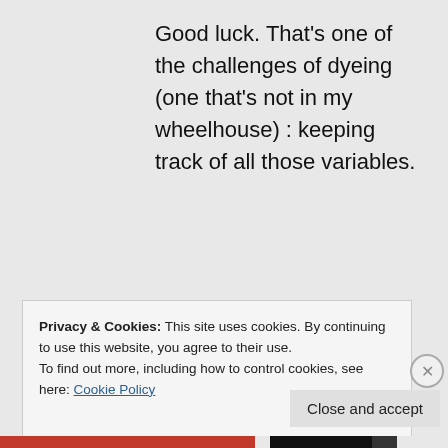Good luck. That's one of the challenges of dyeing (one that's not in my wheelhouse) : keeping track of all those variables.
★ Like
↪ Reply
Privacy & Cookies: This site uses cookies. By continuing to use this website, you agree to their use.
To find out more, including how to control cookies, see here: Cookie Policy
Close and accept